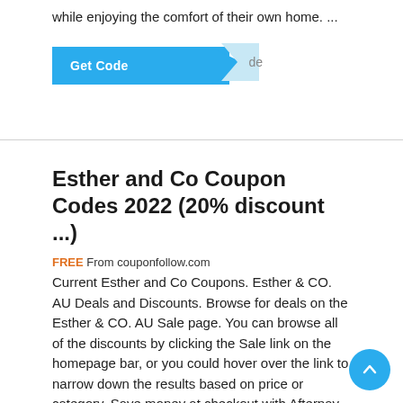while enjoying the comfort of their own home. ...
[Figure (other): Get Code button with teal background and arrow notch]
Esther and Co Coupon Codes 2022 (20% discount ...)
FREE From couponfollow.com
Current Esther and Co Coupons. Esther & CO. AU Deals and Discounts. Browse for deals on the Esther & CO. AU Sale page. You can browse all of the discounts by clicking the Sale link on the homepage bar, or you could hover over the link to narrow down the results based on price or category. Save money at checkout with Afterpay, Zip Pay, or Sezzle. ...
[Figure (other): Get Code button with teal background and arrow notch]